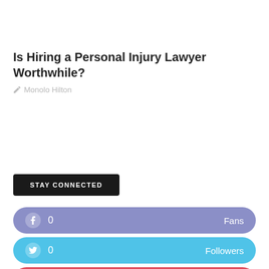Is Hiring a Personal Injury Lawyer Worthwhile?
Monolo Hilton
STAY CONNECTED
f  0  Fans
0  Followers
13.3K  Followers
0  Members